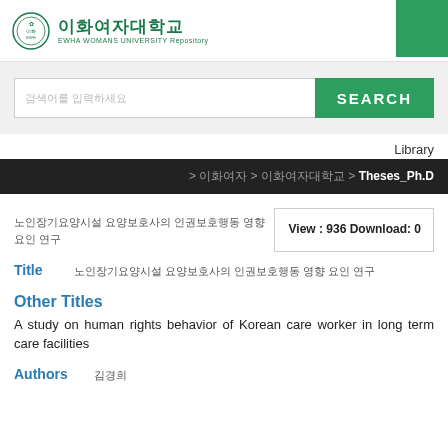[Figure (logo): Ewha Womans University repository logo with Korean text 이화여자대학교 and English text EWHA WOMANS UNIVERSITY Repository]
SEARCH
Library
> 이화여자 > 이화여자대학교 > Theses_Ph.D
노인장기요양시설 요양보호사의 인권보호행동 영향 요인 연구
View : 936 Download: 0
Title  노인장기요양시설 요양보호사의 인권보호행동 영향 요인 연구
Other Titles
A study on human rights behavior of Korean care worker in long term care facilities
Authors  김경희